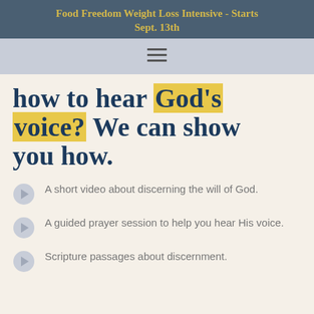Food Freedom Weight Loss Intensive - Starts Sept. 13th
how to hear God's voice? We can show you how.
A short video about discerning the will of God.
A guided prayer session to help you hear His voice.
Scripture passages about discernment.